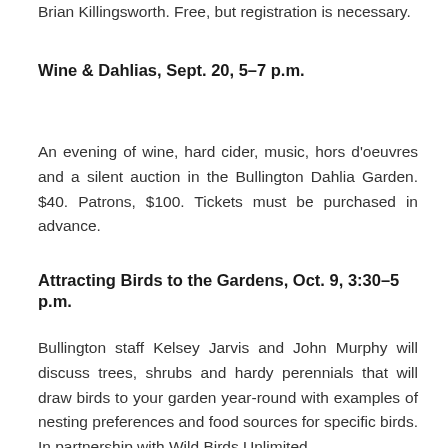Brian Killingsworth. Free, but registration is necessary.
Wine & Dahlias, Sept. 20, 5–7 p.m.
An evening of wine, hard cider, music, hors d'oeuvres and a silent auction in the Bullington Dahlia Garden. $40. Patrons, $100. Tickets must be purchased in advance.
Attracting Birds to the Gardens, Oct. 9, 3:30–5 p.m.
Bullington staff Kelsey Jarvis and John Murphy will discuss trees, shrubs and hardy perennials that will draw birds to your garden year-round with examples of nesting preferences and food sources for specific birds. In partnership with Wild Birds Unlimited